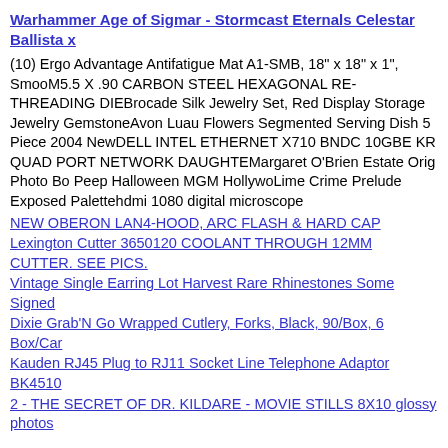Warhammer Age of Sigmar - Stormcast Eternals Celestar Ballista x
(10) Ergo Advantage Antifatigue Mat A1-SMB, 18" x 18" x 1", SmooM5.5 X .90 CARBON STEEL HEXAGONAL RE-THREADING DIEBrocade Silk Jewelry Set, Red Display Storage Jewelry GemstoneAvon Luau Flowers Segmented Serving Dish 5 Piece 2004 NewDELL INTEL ETHERNET X710 BNDC 10GBE KR QUAD PORT NETWORK DAUGHTEMargaret O'Brien Estate Orig Photo Bo Peep Halloween MGM HollywoLime Crime Prelude Exposed Palettehdmi 1080 digital microscope
NEW OBERON LAN4-HOOD, ARC FLASH & HARD CAP
Lexington Cutter 3650120 COOLANT THROUGH 12MM CUTTER. SEE PICS.
Vintage Single Earring Lot Harvest Rare Rhinestones Some Signed
Dixie Grab'N Go Wrapped Cutlery, Forks, Black, 90/Box, 6 Box/Car
Kauden RJ45 Plug to RJ11 Socket Line Telephone Adaptor BK4510
2 - THE SECRET OF DR. KILDARE - MOVIE STILLS 8X10 glossy photos